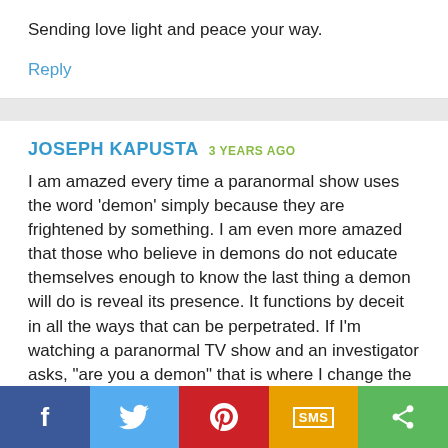Sending love light and peace your way.
Reply
JOSEPH KAPUSTA  3 YEARS AGO
I am amazed every time a paranormal show uses the word 'demon' simply because they are frightened by something. I am even more amazed that those who believe in demons do not educate themselves enough to know the last thing a demon will do is reveal its presence. It functions by deceit in all the ways that can be perpetrated. If I'm watching a paranormal TV show and an investigator asks, "are you a demon" that is where I change the channel. As with all things in life, it
f  [twitter]  [pinterest]  SMS  [share]